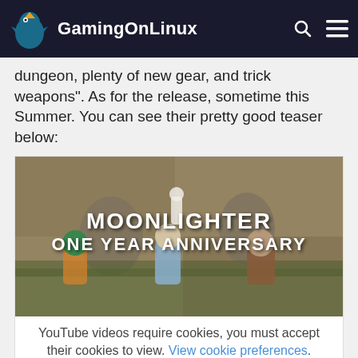GamingOnLinux
dungeon, plenty of new gear, and trick weapons". As for the release, sometime this Summer. You can see their pretty good teaser below:
[Figure (screenshot): Moonlighter One Year Anniversary promotional image showing pixel art characters with title text overlay. Below the image is a YouTube cookie consent notice with 'Accept Cookies & Show' and 'Direct Link' buttons.]
I do pretty like Moonlighter and the the...with...